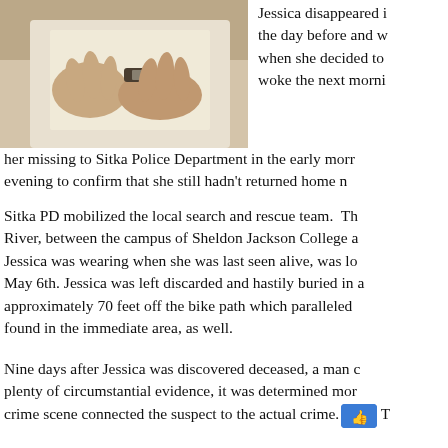[Figure (photo): Close-up photo of hands, one wearing a watch, resting on a surface.]
Jessica disappeared i the day before and w when she decided to woke the next morni her missing to Sitka Police Department in the early morr evening to confirm that she still hadn't returned home n
Sitka PD mobilized the local search and rescue team. Th River, between the campus of Sheldon Jackson College a Jessica was wearing when she was last seen alive, was lo May 6th. Jessica was left discarded and hastily buried in a approximately 70 feet off the bike path which paralleled found in the immediate area, as well.
Nine days after Jessica was discovered deceased, a man c plenty of circumstantial evidence, it was determined mor crime scene connected the suspect to the actual crime. T